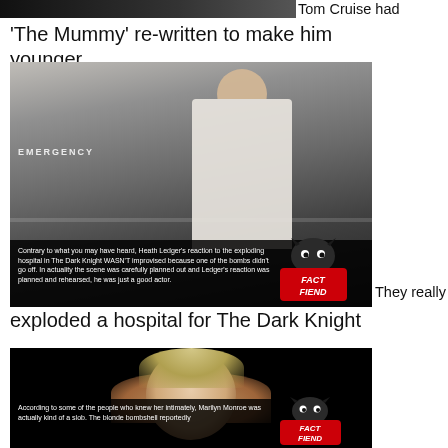[Figure (photo): Partial image at top, cropped dark strip with logo/text]
Tom Cruise had
'The Mummy' re-written to make him younger
[Figure (photo): Heath Ledger as the Joker in nurse costume walking away from exploding hospital in The Dark Knight, with Fact Fiend badge overlay and caption text]
Contrary to what you may have heard, Heath Ledger's reaction to the exploding hospital in The Dark Knight WASN'T improvised because one of the bombs didn't go off. In actuality the scene was carefully planned out and Ledger's reaction was planned and rehearsed, he was just a good actor.
They really
exploded a hospital for The Dark Knight
[Figure (photo): Marilyn Monroe glamour photo on black background with Fact Fiend badge and caption about her being kind of a slob]
According to some of the people who knew her intimately, Marilyn Monroe was actually kind of a slob. The blonde bombshell reportedly